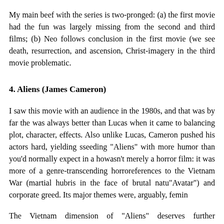My main beef with the series is two-pronged: (a) the first movie had the fun was largely missing from the second and third films; (b) Neo follows conclusion in the first movie (we see death, resurrection, and ascension Christ-imagery in the third movie problematic.
4. Aliens (James Cameron)
I saw this movie with an audience in the 1980s, and that was by far the was always better than Lucas when it came to balancing plot, character effects. Also unlike Lucas, Cameron pushed his actors hard, yielding s seeding "Aliens" with more humor than you'd normally expect in a ho wasn't merely a horror film: it was more of a genre-transcending horro references to the Vietnam War (martial hubris in the face of brutal natu "Avatar") and corporate greed. Its major themes were, arguably, femin
The Vietnam dimension of "Aliens" deserves further exploration. Cam decidedly pro-Vietnamese (with not-so-native aliens substituting for V